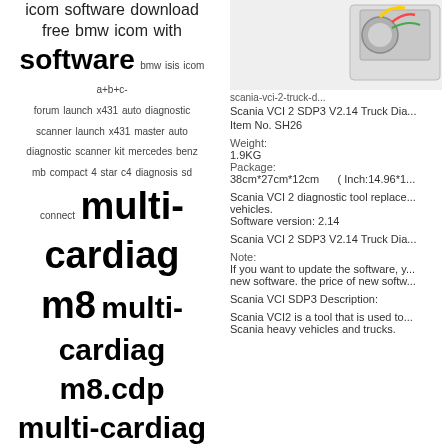[Figure (photo): Product image of Scania VCI 2 diagnostic device, partially visible in top right corner]
icom software download free bmw icom with software bmw isis icom a+b+c-forum launch x431 auto diagnostic scanner launch x431 master auto diagnostic scanner kit mercedes benz mb compact 4 star c4 diagnosis sd connect multi-cardiag m8 multi-cardiag m8.cdp multi-cardiag m8 cdp pro upa-usb device programmer upa-usb device programmer 1.2 upa-usb device programmer download upa-usb device programmer v1.1 upa-usb device programmer v1.2 upa-usb programmer adapter set upa-usb programmer driver upa-usb serial programmer version 1.2 upa usb device programmer software upa usb programmer upa usb programmer china upa usb programmer original upa usb programmer pdf upa usb programmer price upa usb
scania-vci-2-truck-d...
Scania VCI 2 SDP3 V2.14 Truck Dia...
Item No. SH26
Weight:
1.9KG
Package:
38cm*27cm*12cm    ( Inch:14.96*1...
Scania VCI 2 diagnostic tool replace... vehicles.
Software version: 2.14
Scania VCI 2 SDP3 V2.14 Truck Dia...
Note:
If you want to update the software, y... new software. the price of new softw...
Scania VCI SDP3 Description:
Scania VCI2 is a tool that is used to... Scania heavy vehicles and trucks.